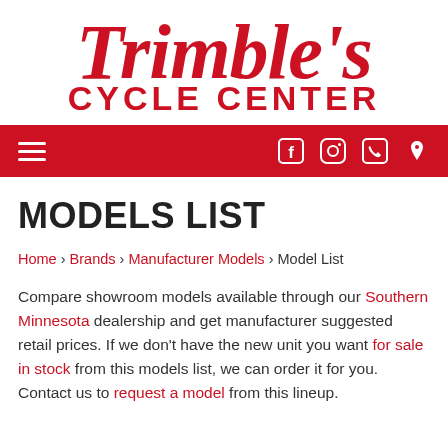[Figure (logo): Trimble's Cycle Center logo — script red text 'Trimble's' above bold red block text 'CYCLE CENTER']
[Figure (screenshot): Red navigation bar with hamburger menu on left and social/contact icons (Facebook, Instagram, phone, location) on right]
MODELS LIST
Home › Brands › Manufacturer Models › Model List
Compare showroom models available through our Southern Minnesota dealership and get manufacturer suggested retail prices. If we don't have the new unit you want for sale in stock from this models list, we can order it for you. Contact us to request a model from this lineup.